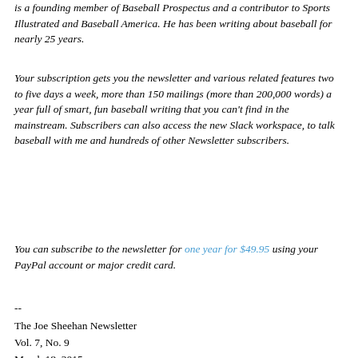is a founding member of Baseball Prospectus and a contributor to Sports Illustrated and Baseball America. He has been writing about baseball for nearly 25 years.
Your subscription gets you the newsletter and various related features two to five days a week, more than 150 mailings (more than 200,000 words) a year full of smart, fun baseball writing that you can't find in the mainstream. Subscribers can also access the new Slack workspace, to talk baseball with me and hundreds of other Newsletter subscribers.
You can subscribe to the newsletter for one year for $49.95 using your PayPal account or major credit card.
--
The Joe Sheehan Newsletter
Vol. 7, No. 9
March 18, 2015
On September 28, 2013, the Rangers were trying to hang on in the AL wild-card chase, and were trailing the Angels 1-0 in the bottom of the first. Ian Kinsler led off with a single, and scampered to second on a wild pitch by Garrett Richards. Rangers manager Ron Washington had Elvis Andrus